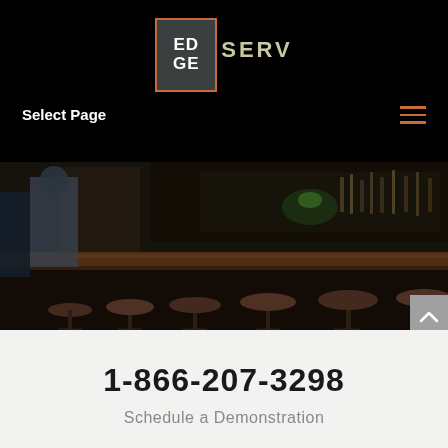[Figure (logo): EdgeServ logo with orange square border and teal background, text 'EDGE' in box and 'SERV' to the right]
Select Page
[Figure (photo): Bar interior photo showing bar stools and counter with bartender in background, dimly lit]
1-866-207-3298
Schedule a Demonstration